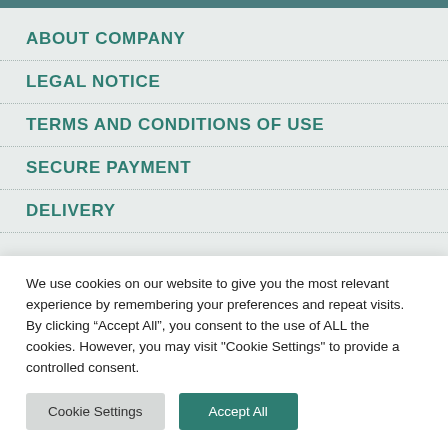ABOUT COMPANY
LEGAL NOTICE
TERMS AND CONDITIONS OF USE
SECURE PAYMENT
DELIVERY
We use cookies on our website to give you the most relevant experience by remembering your preferences and repeat visits. By clicking “Accept All”, you consent to the use of ALL the cookies. However, you may visit "Cookie Settings" to provide a controlled consent.
Cookie Settings | Accept All